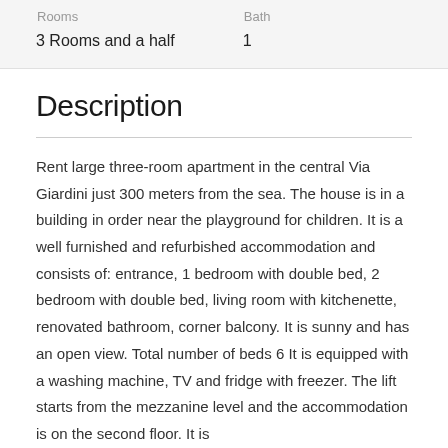| Rooms | Bath |
| --- | --- |
| 3 Rooms and a half | 1 |
Description
Rent large three-room apartment in the central Via Giardini just 300 meters from the sea. The house is in a building in order near the playground for children. It is a well furnished and refurbished accommodation and consists of: entrance, 1 bedroom with double bed, 2 bedroom with double bed, living room with kitchenette, renovated bathroom, corner balcony. It is sunny and has an open view. Total number of beds 6 It is equipped with a washing machine, TV and fridge with freezer. The lift starts from the mezzanine level and the accommodation is on the second floor. It is